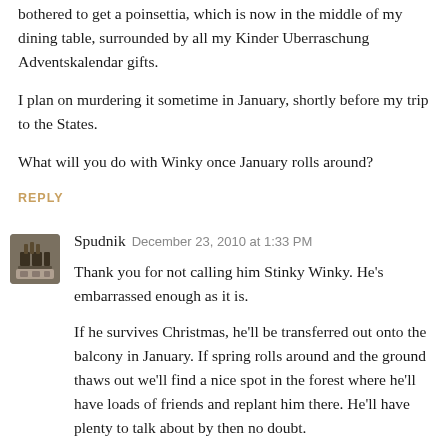bothered to get a poinsettia, which is now in the middle of my dining table, surrounded by all my Kinder Uberraschung Adventskalendar gifts.
I plan on murdering it sometime in January, shortly before my trip to the States.
What will you do with Winky once January rolls around?
REPLY
Spudnik  December 23, 2010 at 1:33 PM
Thank you for not calling him Stinky Winky. He's embarrassed enough as it is.
If he survives Christmas, he'll be transferred out onto the balcony in January. If spring rolls around and the ground thaws out we'll find a nice spot in the forest where he'll have loads of friends and replant him there. He'll have plenty to talk about by then no doubt.
Hopefully your poinsettia smells a bit better.